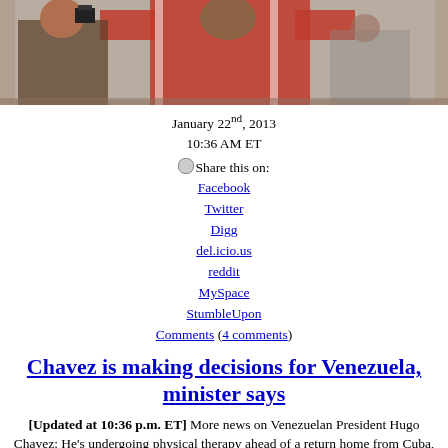[Figure (photo): Photo of a person in a red tracksuit with arms raised, reflected in a mirror, with a woman taking a photo in the background]
January 22nd, 2013
10:36 AM ET
Share this on:
Facebook
Twitter
Digg
del.icio.us
reddit
MySpace
StumbleUpon
Comments (4 comments)
Chavez is making decisions for Venezuela, minister says
[Updated at 10:36 p.m. ET] More news on Venezuelan President Hugo Chavez: He's undergoing physical therapy ahead of a return home from Cuba, Bolivian President Evo Morales said during his